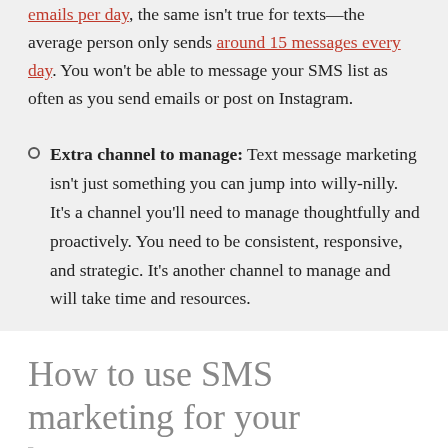emails per day, the same isn't true for texts—the average person only sends around 15 messages every day. You won't be able to message your SMS list as often as you send emails or post on Instagram.
Extra channel to manage: Text message marketing isn't just something you can jump into willy-nilly. It's a channel you'll need to manage thoughtfully and proactively. You need to be consistent, responsive, and strategic. It's another channel to manage and will take time and resources.
How to use SMS marketing for your business